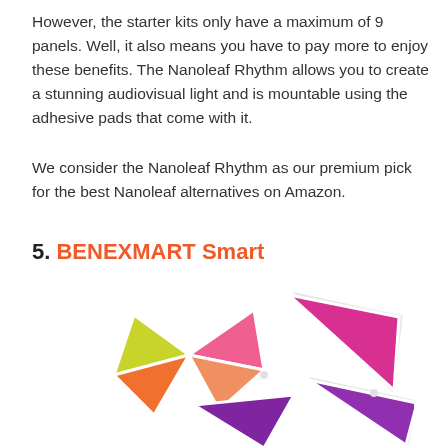However, the starter kits only have a maximum of 9 panels. Well, it also means you have to pay more to enjoy these benefits. The Nanoleaf Rhythm allows you to create a stunning audiovisual light and is mountable using the adhesive pads that come with it.
We consider the Nanoleaf Rhythm as our premium pick for the best Nanoleaf alternatives on Amazon.
5. BENEXMART Smart
[Figure (photo): Photo of BENEXMART Smart triangular LED light panels arranged in a cluster, showing colorful glowing triangles in yellow, orange, pink, magenta and purple colors with white plastic frames.]